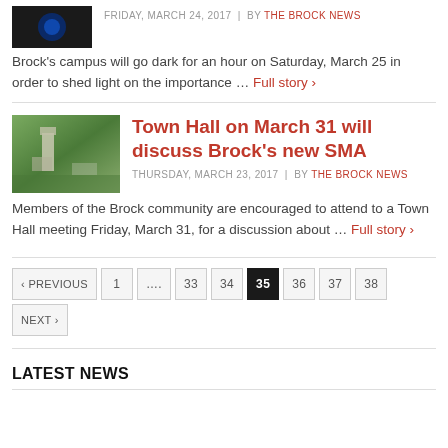[Figure (photo): Dark thumbnail image, partial view of a logo]
FRIDAY, MARCH 24, 2017 | by The Brock News
Brock's campus will go dark for an hour on Saturday, March 25 in order to shed light on the importance … Full story ›
[Figure (photo): Aerial photo of Brock University campus surrounded by trees]
Town Hall on March 31 will discuss Brock's new SMA
THURSDAY, MARCH 23, 2017 | by The Brock News
Members of the Brock community are encouraged to attend to a Town Hall meeting Friday, March 31, for a discussion about … Full story ›
‹ PREVIOUS  1  ....  33  34  35  36  37  38  NEXT ›
LATEST NEWS